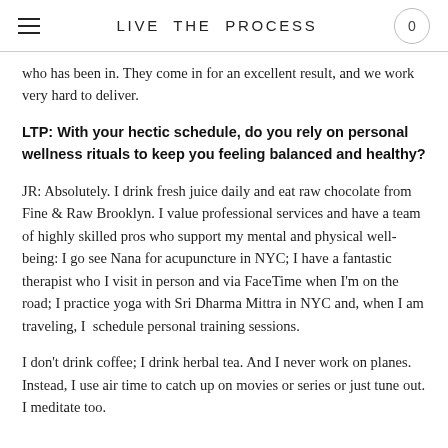LIVE THE PROCESS
who has been in. They come in for an excellent result, and we work very hard to deliver.
LTP: With your hectic schedule, do you rely on personal wellness rituals to keep you feeling balanced and healthy?
JR: Absolutely. I drink fresh juice daily and eat raw chocolate from Fine & Raw Brooklyn. I value professional services and have a team of highly skilled pros who support my mental and physical well-being: I go see Nana for acupuncture in NYC; I have a fantastic therapist who I visit in person and via FaceTime when I'm on the road; I practice yoga with Sri Dharma Mittra in NYC and, when I am traveling, I schedule personal training sessions.
I don't drink coffee; I drink herbal tea. And I never work on planes. Instead, I use air time to catch up on movies or series or just tune out. I meditate too.